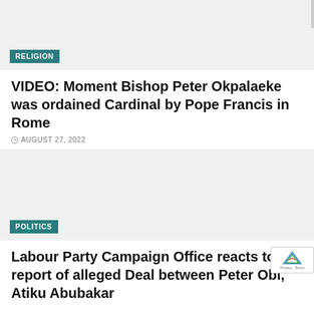[Figure (photo): Light grey placeholder image for religion article]
RELIGION
VIDEO: Moment Bishop Peter Okpalaeke was ordained Cardinal by Pope Francis in Rome
AUGUST 27, 2022
[Figure (photo): Light grey placeholder image for politics article]
POLITICS
Labour Party Campaign Office reacts to report of alleged Deal between Peter Obi, Atiku Abubakar